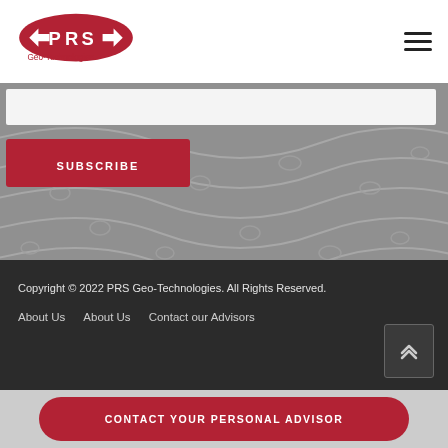[Figure (logo): PRS Geo-Technologies logo: red oval shape with white PRS letters and Geo-Technologies text below]
[Figure (photo): Grayscale background image showing geotextile fabric with wavy pattern and oval apertures]
SUBSCRIBE
Copyright © 2022 PRS Geo-Technologies. All Rights Reserved.
About Us   About Us   Contact our Advisors
CONTACT YOUR PERSONAL ADVISOR